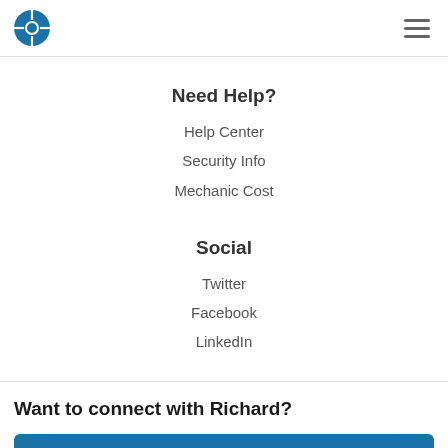Logo and navigation header
Need Help?
Help Center
Security Info
Mechanic Cost
Social
Twitter
Facebook
LinkedIn
Want to connect with Richard?
Get started